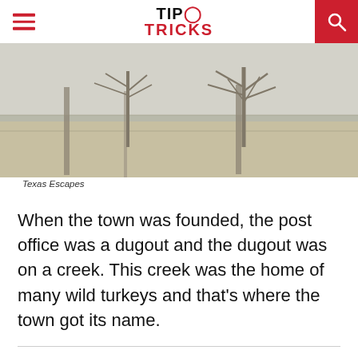TIP TRICKS
[Figure (photo): Outdoor landscape photo showing fence posts, bare trees, and open fields under a grey sky. Texas rural scenery.]
Texas Escapes
When the town was founded, the post office was a dugout and the dugout was on a creek. This creek was the home of many wild turkeys and that's where the town got its name.